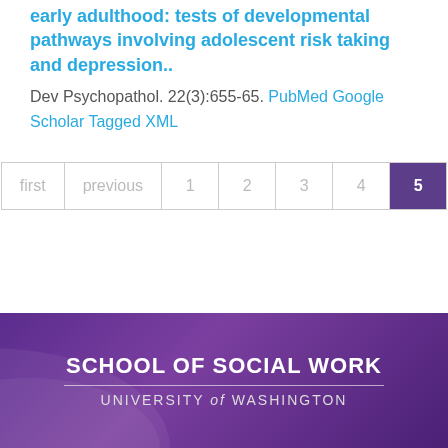early adulthood: tests of developmental pathways involving adolescent risk taking and depression..
Dev Psychopathol. 22(3):655-65. PubMed Google Scholar Tagged XML
[Figure (other): Pagination control showing: first, previous, 1, 2, 3, 4, 5 (active/current page highlighted in purple)]
[Figure (logo): School of Social Work, University of Washington footer logo on purple gradient background]